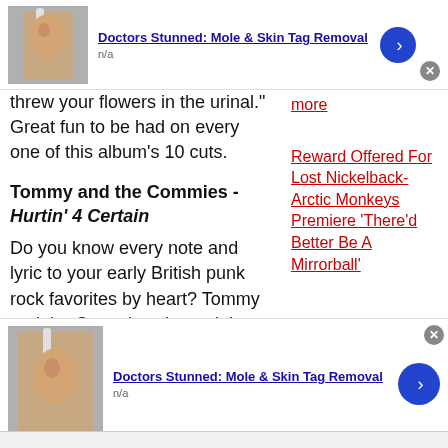[Figure (advertisement): Ad banner top: person shaving face with toothbrush, title 'Doctors Stunned: Mole & Skin Tag Removal', n/a, blue arrow button, close button]
threw your flowers in the urinal." Great fun to be had on every one of this album's 10 cuts.
Tommy and the Commies - Hurtin' 4 Certain
Do you know every note and lyric to your early British punk rock favorites by heart? Tommy and the Commies channel that era with verve, having a sound all their own
[Figure (advertisement): Sidebar link: 'more' in red underlined, then 'Reward Offered For Lost Nickelback-Arctic Monkeys Premiere \'There'd Better Be A Mirrorball\'' in red underlined]
[Figure (advertisement): Ad banner bottom: person shaving face with toothbrush, title 'Doctors Stunned: Mole & Skin Tag Removal', n/a, blue arrow button, close button]